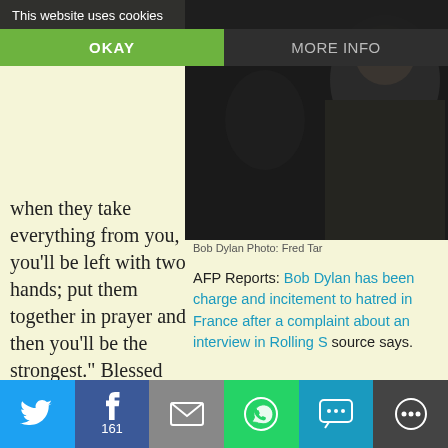This website uses cookies
OKAY
MORE INFO
[Figure (photo): Dark image of Bob Dylan in background, top right area]
Bob Dylan Photo: Fred Tar
when they take everything from you, you'll be left with two hands; put them together in prayer and then you'll be the strongest." Blessed Aloysius Stepinac (1898 – 1960)
AFP Reports: Bob Dylan has been charged and incitement to hatred in France after a complaint about an interview in Rolling S... source says.
It follows a legal complaint lodged by a Cr... over a 2012 interview Dylan gave to Rolli...
The American singer was questioned and... November after the group complained ab... which he allegedly compared the relatio...
FIRST PRESIDENT OF
[Figure (infographic): Social share bar with Twitter, Facebook (161), email, WhatsApp, SMS, and more options]